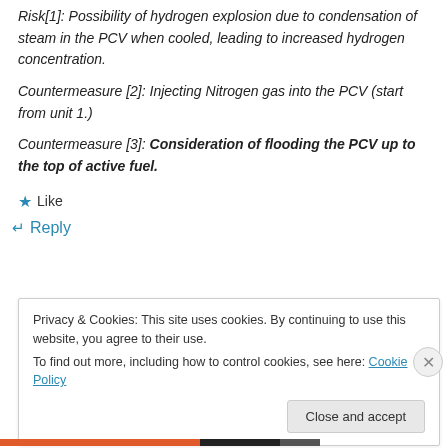Risk[1]: Possibility of hydrogen explosion due to condensation of steam in the PCV when cooled, leading to increased hydrogen concentration.
Countermeasure [2]: Injecting Nitrogen gas into the PCV (start from unit 1.)
Countermeasure [3]: Consideration of flooding the PCV up to the top of active fuel.
Like
Reply
Privacy & Cookies: This site uses cookies. By continuing to use this website, you agree to their use. To find out more, including how to control cookies, see here: Cookie Policy
Close and accept